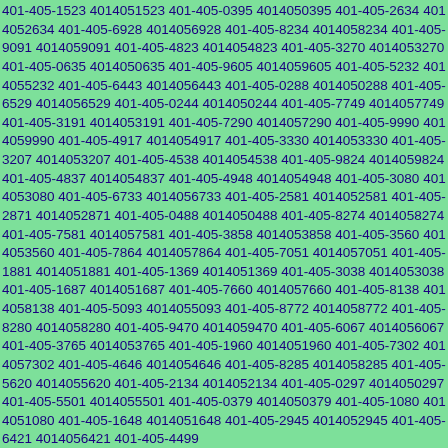401-405-1523 4014051523 401-405-0395 4014050395 401-405-2634 4014052634 401-405-6928 4014056928 401-405-8234 4014058234 401-405-9091 4014059091 401-405-4823 4014054823 401-405-3270 4014053270 401-405-0635 4014050635 401-405-9605 4014059605 401-405-5232 4014055232 401-405-6443 4014056443 401-405-0288 4014050288 401-405-6529 4014056529 401-405-0244 4014050244 401-405-7749 4014057749 401-405-3191 4014053191 401-405-7290 4014057290 401-405-9990 4014059990 401-405-4917 4014054917 401-405-3330 4014053330 401-405-3207 4014053207 401-405-4538 4014054538 401-405-9824 4014059824 401-405-4837 4014054837 401-405-4948 4014054948 401-405-3080 4014053080 401-405-6733 4014056733 401-405-2581 4014052581 401-405-2871 4014052871 401-405-0488 4014050488 401-405-8274 4014058274 401-405-7581 4014057581 401-405-3858 4014053858 401-405-3560 4014053560 401-405-7864 4014057864 401-405-7051 4014057051 401-405-1881 4014051881 401-405-1369 4014051369 401-405-3038 4014053038 401-405-1687 4014051687 401-405-7660 4014057660 401-405-8138 4014058138 401-405-5093 4014055093 401-405-8772 4014058772 401-405-8280 4014058280 401-405-9470 4014059470 401-405-6067 4014056067 401-405-3765 4014053765 401-405-1960 4014051960 401-405-7302 4014057302 401-405-4646 4014054646 401-405-8285 4014058285 401-405-5620 4014055620 401-405-2134 4014052134 401-405-0297 4014050297 401-405-5501 4014055501 401-405-0379 4014050379 401-405-1080 4014051080 401-405-1648 4014051648 401-405-2945 4014052945 401-405-6421 4014056421 401-405-4499